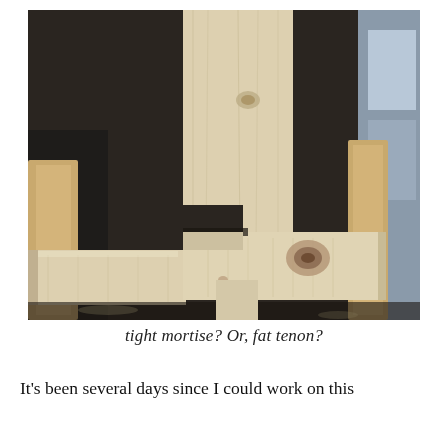[Figure (photo): Close-up photograph of a wood joinery connection showing a mortise and tenon joint. Light-colored pine lumber pieces are fitted together on what appears to be a workshop surface. The joint shows a horizontal board fitted into notches cut into a vertical post, with visible wood grain and a knot on the horizontal piece.]
tight mortise? Or, fat tenon?
It's been several days since I could work on this